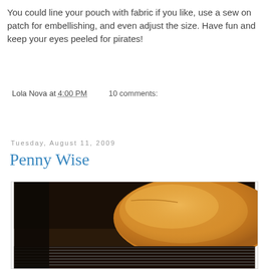You could line your pouch with fabric if you like, use a sew on patch for embellishing, and even adjust the size. Have fun and keep your eyes peeled for pirates!
Lola Nova at 4:00 PM   10 comments:
Share
Tuesday, August 11, 2009
Penny Wise
[Figure (photo): Close-up photo of a golden-brown loaf of bread on a wire cooling rack]